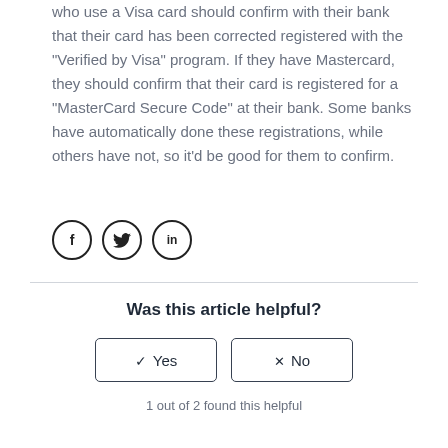who use a Visa card should confirm with their bank that their card has been corrected registered with the "Verified by Visa" program. If they have Mastercard, they should confirm that their card is registered for a "MasterCard Secure Code" at their bank. Some banks have automatically done these registrations, while others have not, so it'd be good for them to confirm.
[Figure (other): Three social media icon circles: Facebook (f), Twitter (bird), LinkedIn (in)]
Was this article helpful?
✓  Yes    ✕  No
1 out of 2 found this helpful